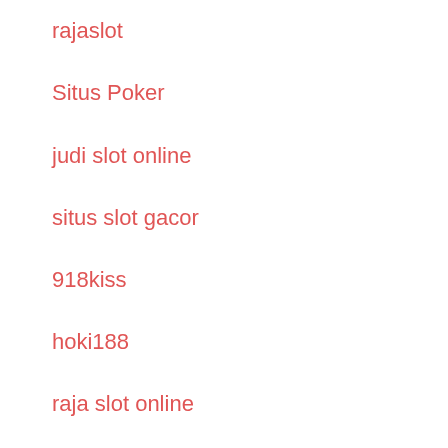rajaslot
Situs Poker
judi slot online
situs slot gacor
918kiss
hoki188
raja slot online